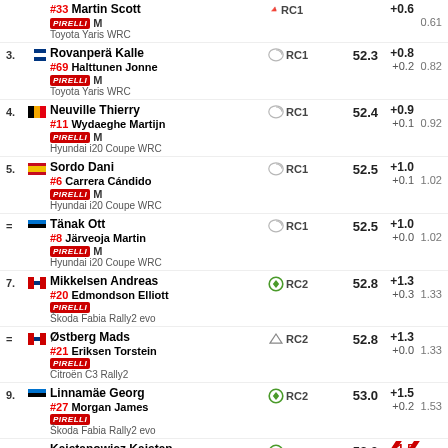#33 Martin Scott, Toyota Yaris WRC, RC1, M, +0.6, 0.61
3. Rovanperä Kalle / #69 Halttunen Jonne, Toyota Yaris WRC, RC1, M, 52.3, +0.8, +0.2, 0.82
4. Neuville Thierry / #11 Wydaeghe Martijn, Hyundai i20 Coupe WRC, RC1, M, 52.4, +0.9, +0.1, 0.92
5. Sordo Dani / #6 Carrera Cándido, Hyundai i20 Coupe WRC, RC1, M, 52.5, +1.0, +0.1, 1.02
= Tänak Ott / #8 Järveoja Martin, Hyundai i20 Coupe WRC, RC1, M, 52.5, +1.0, +0.0, 1.02
7. Mikkelsen Andreas / #20 Edmondson Elliott, Škoda Fabia Rally2 evo, RC2, 52.8, +1.3, +0.3, 1.33
= Østberg Mads / #21 Eriksen Torstein, Citroën C3 Rally2, RC2, 52.8, +1.3, +0.0, 1.33
9. Linnamäe Georg / #27 Morgan James, Škoda Fabia Rally2 evo, RC2, 53.0, +1.5, +0.2, 1.53
= Kajetanowicz Kajetan / #31 Szczepaniak M., Škoda Fabia Rally2 evo, RC2, 53.0, +1.5, +0.0, 1.53
11. Solberg Oliver / #28 Johnston Aaron, Hyundai i20 N Rally2, RC2, 53.1, +1.6, +0.1, 1.63